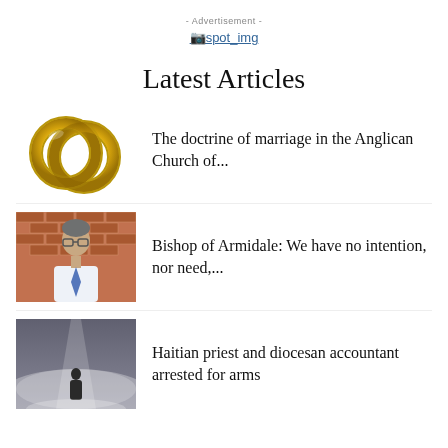- Advertisement -
[Figure (other): Broken image placeholder labeled spot_img]
Latest Articles
[Figure (illustration): Two interlinked gold wedding rings]
The doctrine of marriage in the Anglican Church of...
[Figure (photo): Portrait of Bishop of Armidale in front of brick wall]
Bishop of Armidale: We have no intention, nor need,...
[Figure (photo): Misty scene with figure, possibly Haiti related]
Haitian priest and diocesan accountant arrested for arms